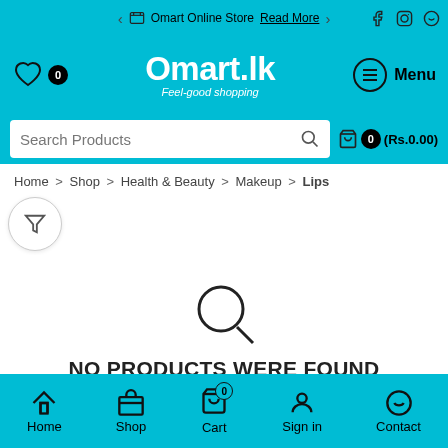Omart Online Store Read More
[Figure (screenshot): Omart.lk online store header with logo, search bar, and navigation]
Home > Shop > Health & Beauty > Makeup > Lips
[Figure (infographic): No products were found message with search icon]
Home  Shop  Cart 0  Sign in  Contact